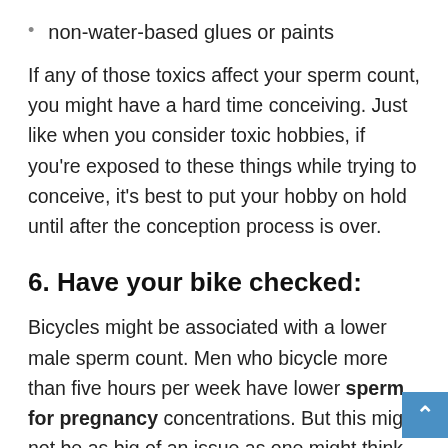non-water-based glues or paints
If any of those toxics affect your sperm count, you might have a hard time conceiving. Just like when you consider toxic hobbies, if you're exposed to these things while trying to conceive, it's best to put your hobby on hold until after the conception process is over.
6. Have your bike checked:
Bicycles might be associated with a lower male sperm count. Men who bicycle more than five hours per week have lower sperm for pregnancy concentrations. But this might not be as big of an issue as one might think, since getting your bike checked by a professional and making sure it's properly adjusted can help fix that problem.